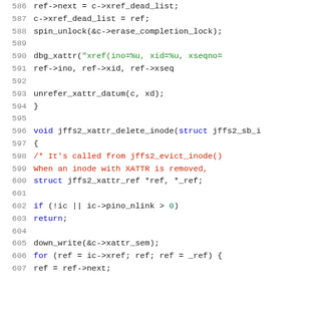Source code listing, lines 586-607, showing C code for jffs2 xattr functions